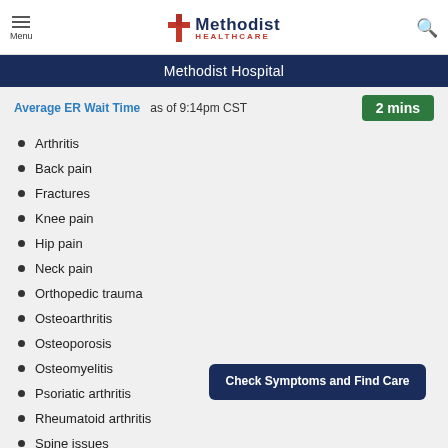Methodist Healthcare - Menu / Search header
Methodist Hospital
Average ER Wait Time as of 9:14pm CST  2 mins
Arthritis
Back pain
Fractures
Knee pain
Hip pain
Neck pain
Orthopedic trauma
Osteoarthritis
Osteoporosis
Osteomyelitis
Psoriatic arthritis
Rheumatoid arthritis
Spine issues
Check Symptoms and Find Care